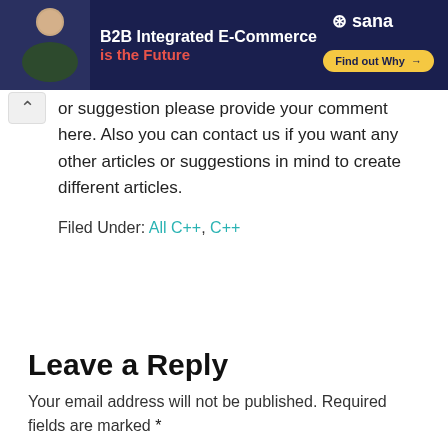[Figure (other): B2B Integrated E-Commerce banner advertisement by Sana with a man smiling, 'Find out Why' button]
or suggestion please provide your comment here. Also you can contact us if you want any other articles or suggestions in mind to create different articles.
Filed Under: All C++, C++
Leave a Reply
Your email address will not be published. Required fields are marked *